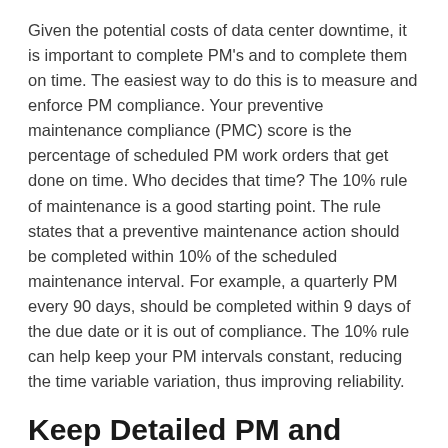Given the potential costs of data center downtime, it is important to complete PM's and to complete them on time. The easiest way to do this is to measure and enforce PM compliance. Your preventive maintenance compliance (PMC) score is the percentage of scheduled PM work orders that get done on time. Who decides that time? The 10% rule of maintenance is a good starting point. The rule states that a preventive maintenance action should be completed within 10% of the scheduled maintenance interval. For example, a quarterly PM every 90 days, should be completed within 9 days of the due date or it is out of compliance. The 10% rule can help keep your PM intervals constant, reducing the time variable variation, thus improving reliability.
Keep Detailed PM and Work Order Records
If things go wrong, insufficient documentation can